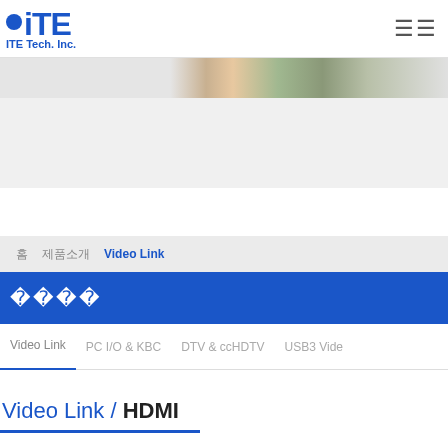ITE Tech. Inc.
[Figure (photo): Partial banner image strip showing a person and background scenery]
홈  제품소개  Video Link
제품소개
Video Link  PC I/O & KBC  DTV & ccHDTV  USB3 Video
Video Link / HDMI